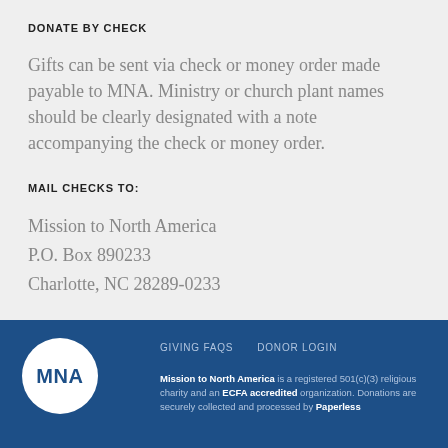DONATE BY CHECK
Gifts can be sent via check or money order made payable to MNA. Ministry or church plant names should be clearly designated with a note accompanying the check or money order.
MAIL CHECKS TO:
Mission to North America
P.O. Box 890233
Charlotte, NC 28289-0233
GIVING FAQS   DONOR LOGIN
MNA logo
Mission to North America is a registered 501(c)(3) religious charity and an ECFA accredited organization. Donations are securely collected and processed by Paperless